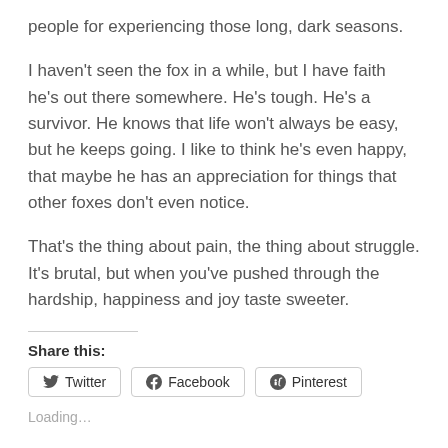people for experiencing those long, dark seasons.
I haven't seen the fox in a while, but I have faith he's out there somewhere. He's tough. He's a survivor. He knows that life won't always be easy, but he keeps going. I like to think he's even happy, that maybe he has an appreciation for things that other foxes don't even notice.
That's the thing about pain, the thing about struggle. It's brutal, but when you've pushed through the hardship, happiness and joy taste sweeter.
Share this:
Twitter | Facebook | Pinterest
Loading…